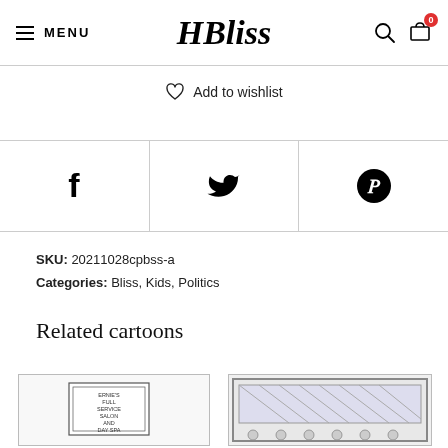MENU | HBliss logo | search icon | cart (0)
♡  Add to wishlist
[Figure (other): Social sharing icons row: Facebook (f), Twitter (bird), Pinterest (P circle)]
SKU: 20211028cpbss-a
Categories: Bliss, Kids, Politics
Related cartoons
[Figure (illustration): Cartoon thumbnail showing a sign reading ERNIE'S FULL SERVICE SALON AND DAY SPA]
[Figure (illustration): Cartoon thumbnail showing people seated in what appears to be a meeting or classroom setting, viewed through a window or frame]